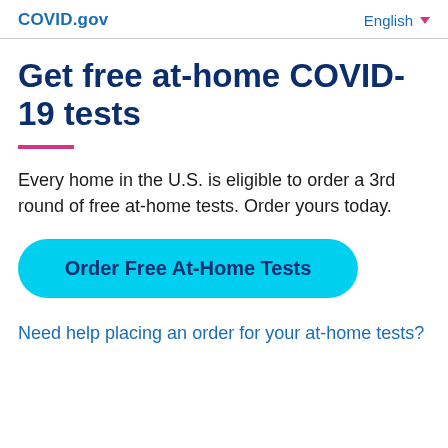COVID.gov | English
Get free at-home COVID-19 tests
Every home in the U.S. is eligible to order a 3rd round of free at-home tests. Order yours today.
Order Free At-Home Tests
Need help placing an order for your at-home tests?